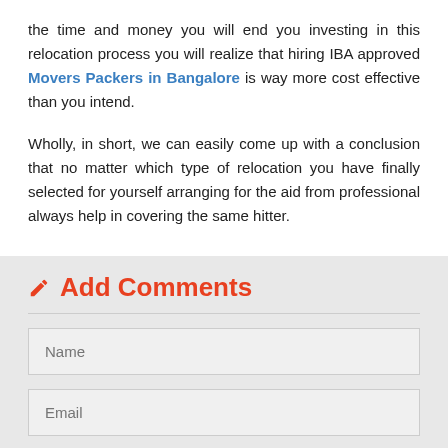the time and money you will end you investing in this relocation process you will realize that hiring IBA approved Movers Packers in Bangalore is way more cost effective than you intend.
Wholly, in short, we can easily come up with a conclusion that no matter which type of relocation you have finally selected for yourself arranging for the aid from professional always help in covering the same hitter.
Add Comments